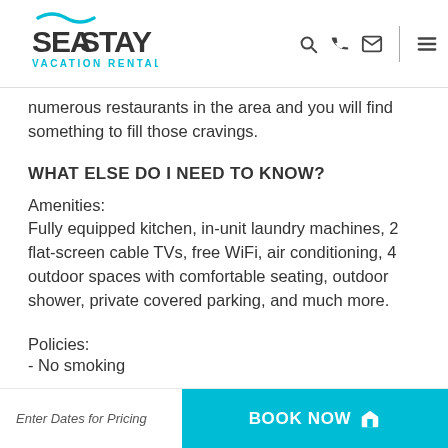SeaStay Vacation Rentals
numerous restaurants in the area and you will find something to fill those cravings.
WHAT ELSE DO I NEED TO KNOW?
Amenities:
Fully equipped kitchen, in-unit laundry machines, 2 flat-screen cable TVs, free WiFi, air conditioning, 4 outdoor spaces with comfortable seating, outdoor shower, private covered parking, and much more.
Policies:
- No smoking
Enter Dates for Pricing   BOOK NOW